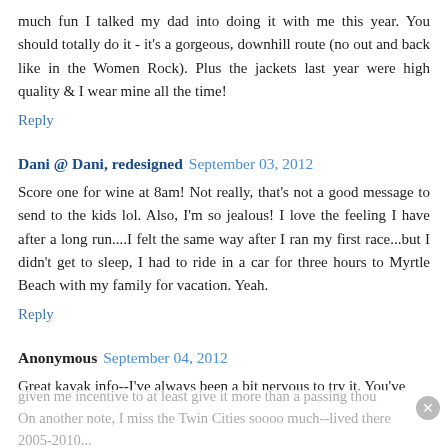much fun I talked my dad into doing it with me this year. You should totally do it - it's a gorgeous, downhill route (no out and back like in the Women Rock). Plus the jackets last year were high quality & I wear mine all the time!
Reply
Dani @ Dani, redesigned  September 03, 2012
Score one for wine at 8am! Not really, that's not a good message to send to the kids lol. Also, I'm so jealous! I love the feeling I have after a long run....I felt the same way after I ran my first race...but I didn't get to sleep, I had to ride in a car for three hours to Myrtle Beach with my family for vacation. Yeah.
Reply
Anonymous  September 04, 2012
Great kayak info--I've always been a bit nervous to try it. You've given me incentive to at least give it more than a passing thou... On another note, I miss the Twin Cities soooo much--lived there 2005-2010...